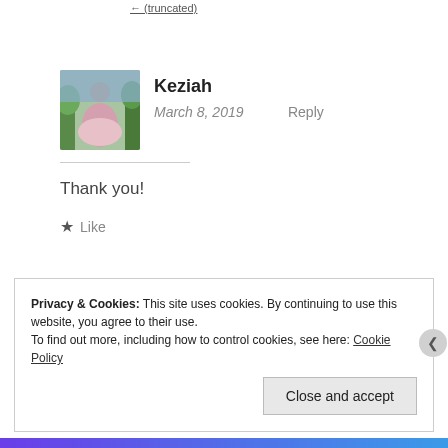Keziah
March 8, 2019   Reply
Thank you!
★ Like
Privacy & Cookies: This site uses cookies. By continuing to use this website, you agree to their use.
To find out more, including how to control cookies, see here: Cookie Policy
Close and accept